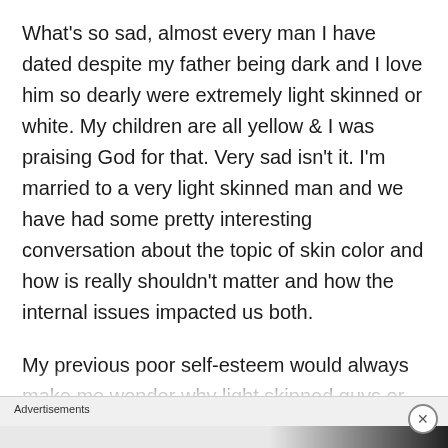What's so sad, almost every man I have dated despite my father being dark and I love him so dearly were extremely light skinned or white. My children are all yellow & I was praising God for that. Very sad isn't it. I'm married to a very light skinned man and we have had some pretty interesting conversation about the topic of skin color and how is really shouldn't matter and how the internal issues impacted us both.
My previous poor self-esteem would always make me wonder why light skinned guys or any guy for that matter was attracted to me. I knew I had a beautiful body but always struggle when
Advertisements